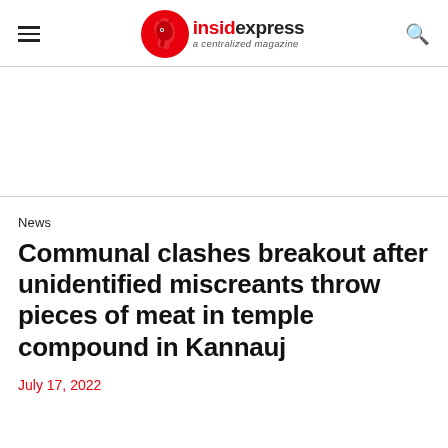insidexpress a centralized magazine
[Figure (logo): InsidExpress logo with red circular leopard/panther icon and text 'insidexpress a centralized magazine']
News
Communal clashes breakout after unidentified miscreants throw pieces of meat in temple compound in Kannauj
July 17, 2022